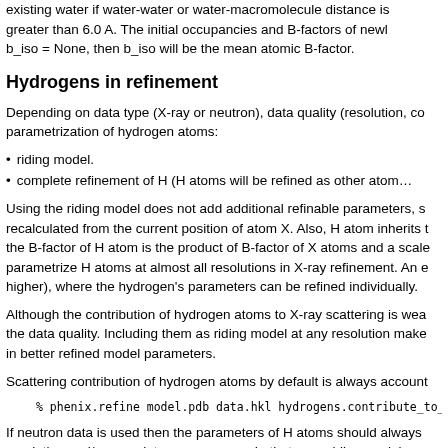existing water if water-water or water-macromolecule distance is greater than 6.0 A. The initial occupancies and B-factors of newl b_iso = None, then b_iso will be the mean atomic B-factor.
Hydrogens in refinement
Depending on data type (X-ray or neutron), data quality (resolution, co parametrization of hydrogen atoms:
riding model.
complete refinement of H (H atoms will be refined as other atom…
Using the riding model does not add additional refinable parameters, s recalculated from the current position of atom X. Also, H atom inherits the B-factor of H atom is the product of B-factor of X atoms and a scale parametrize H atoms at almost all resolutions in X-ray refinement. An e higher), where the hydrogen's parameters can be refined individually.
Although the contribution of hydrogen atoms to X-ray scattering is wea the data quality. Including them as riding model at any resolution make in better refined model parameters.
Scattering contribution of hydrogen atoms by default is always account
% phenix.refine model.pdb data.hkl hydrogens.contribute_to_f_
If neutron data is used then the parameters of H atoms should always resolution and/or completeness are poor. In that case riding model can…